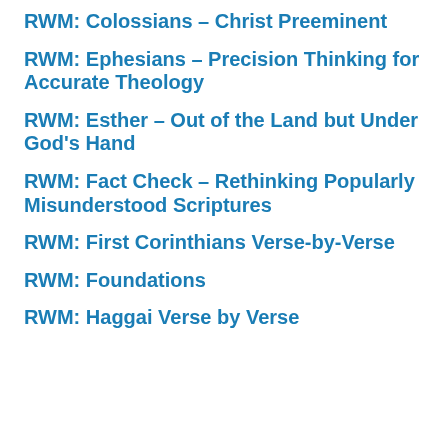RWM: Colossians – Christ Preeminent
RWM: Ephesians – Precision Thinking for Accurate Theology
RWM: Esther – Out of the Land but Under God's Hand
RWM: Fact Check – Rethinking Popularly Misunderstood Scriptures
RWM: First Corinthians Verse-by-Verse
RWM: Foundations
RWM: Haggai Verse by Verse